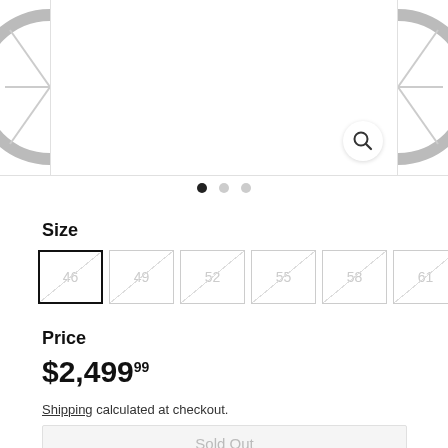[Figure (photo): Bicycle wheel product image carousel with zoom icon. Left side shows partial wheel arc, center is main white product image area with magnifying glass zoom button, right side shows partial wheel arc.]
[Figure (infographic): Carousel navigation dots: one filled black dot (active) and two grey dots (inactive)]
Size
[Figure (other): Six size selector buttons with crossed-out (unavailable) sizes: 46 (selected/active border), 49, 52, 55, 58, 61]
Price
$2,49999
Shipping calculated at checkout.
Sold Out